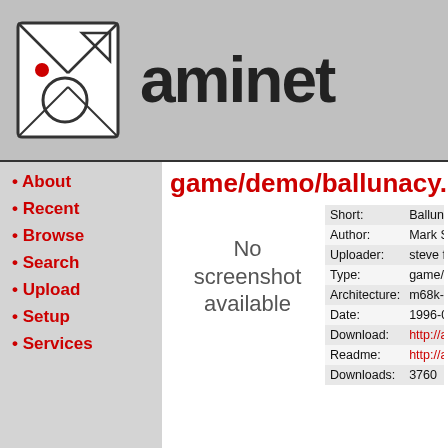[Figure (logo): Aminet logo with geometric shapes and a red circle on a folded paper icon]
aminet
About
Recent
Browse
Search
Upload
Setup
Services
game/demo/ballunacy.lha
No screenshot available
| Field | Value |
| --- | --- |
| Short: | Ballunacy demo |
| Author: | Mark Seymour |
| Uploader: | steve f1lw demon co uk (S |
| Type: | game/demo |
| Architecture: | m68k-amigaos |
| Date: | 1996-03-24 |
| Download: | http://aminet.net/game/dem |
| Readme: | http://aminet.net/game/dem |
| Downloads: | 3760 |
Brilliant licenceware arcade/puzzler, play it,
*Requires: Medplayer.Library
        Mathtrans.Library